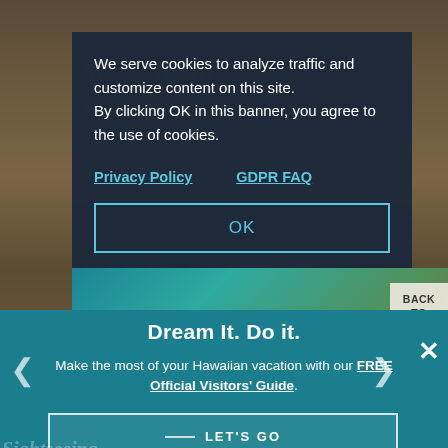[Figure (screenshot): Website screenshot showing a cookie consent modal over a Hawaiian travel website. Behind the modal is a page about 'See & Do in Hawaii' with wooden background. The modal has dark navy background with white text, teal-colored links and OK button. Below is a teal promotional banner with 'Dream It. Do it.' headline and Visitors Guide offer.]
We serve cookies to analyze traffic and customize content on this site. By clicking OK in this banner, you agree to the use of cookies.
Privacy Policy    GDPR FAQ
OK
BACK TO
Dream It. Do it.
Make the most of your Hawaiian vacation with our FREE Official Visitors' Guide.
LET'S GO